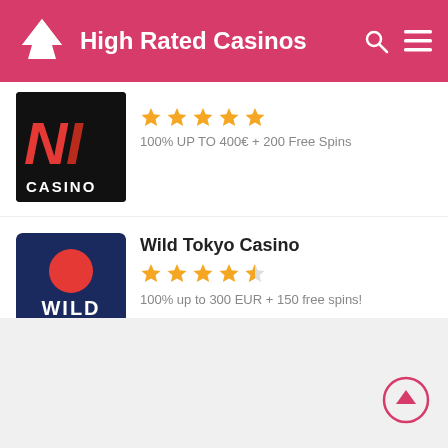High Rated Casinos
[Figure (logo): NT Casino logo - black background with red italic NT letters and white CASINO text]
100% UP TO 400€ + 200 Free Spins
[Figure (logo): Wild Tokyo Casino logo - dark blue background with red circle and white WILD TOKYO text]
Wild Tokyo Casino
100% up to 300 EUR + 150 free spins!